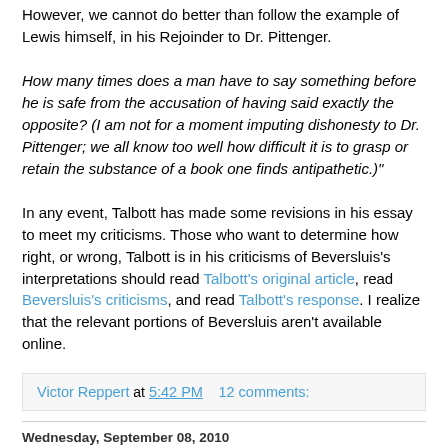However, we cannot do better than follow the example of Lewis himself, in his Rejoinder to Dr. Pittenger.
How many times does a man have to say something before he is safe from the accusation of having said exactly the opposite? (I am not for a moment imputing dishonesty to Dr. Pittenger; we all know too well how difficult it is to grasp or retain the substance of a book one finds antipathetic.)"
In any event, Talbott has made some revisions in his essay to meet my criticisms. Those who want to determine how right, or wrong, Talbott is in his criticisms of Beversluis's interpretations should read Talbott's original article, read Beversluis's criticisms, and read Talbott's response. I realize that the relevant portions of Beversluis aren't available online.
Victor Reppert at 5:42 PM    12 comments:
Wednesday, September 08, 2010
The Prosblogion entry on atheist